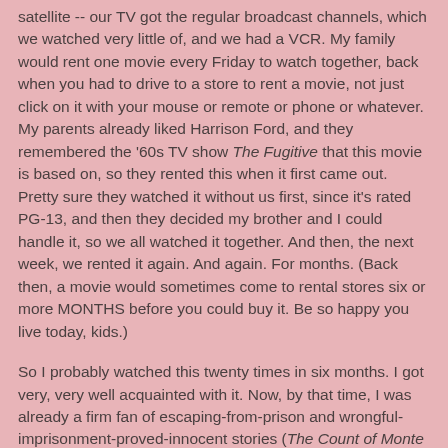satellite -- our TV got the regular broadcast channels, which we watched very little of, and we had a VCR. My family would rent one movie every Friday to watch together, back when you had to drive to a store to rent a movie, not just click on it with your mouse or remote or phone or whatever. My parents already liked Harrison Ford, and they remembered the '60s TV show The Fugitive that this movie is based on, so they rented this when it first came out. Pretty sure they watched it without us first, since it's rated PG-13, and then they decided my brother and I could handle it, so we all watched it together. And then, the next week, we rented it again. And again. For months. (Back then, a movie would sometimes come to rental stores six or more MONTHS before you could buy it. Be so happy you live today, kids.)
So I probably watched this twenty times in six months. I got very, very well acquainted with it. Now, by that time, I was already a firm fan of escaping-from-prison and wrongful-imprisonment-proved-innocent stories (The Count of Monte Cristo by Alexandre Dumas had been a favorite book of mine for a couple years already by then). Plus, I loved mysteries